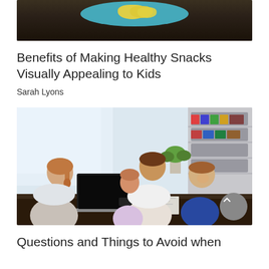[Figure (photo): Top portion of a photo showing a blue plate with yellow lemon slices on a dark wooden surface]
Benefits of Making Healthy Snacks Visually Appealing to Kids
Sarah Lyons
[Figure (photo): A family with a father and two children (a girl and a boy) sitting across a table from a woman with a ponytail (likely a healthcare professional or consultant) who has a laptop open. They appear to be in an office or meeting room setting with bookshelves in the background.]
Questions and Things to Avoid when